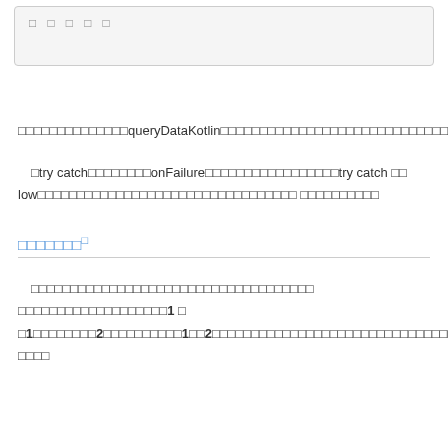[Figure (screenshot): Code box with placeholder/greyed text characters]
このコードはqueryDataKotlinメソッドを呼び出してデータを取得するためのコードです。
try catchブロックでonFailureコールバックを使用しているが、try catch のlowレベルのエラーハンドリングはここでは省略されている。
まとめ
このコードでは、さまざまなシナリオを処理しつつ　ページングされたデータセットを管理するために1 と1の間でフロー2を作成し、1と2の間でデータをロードして表示するためのコードが含まれています。